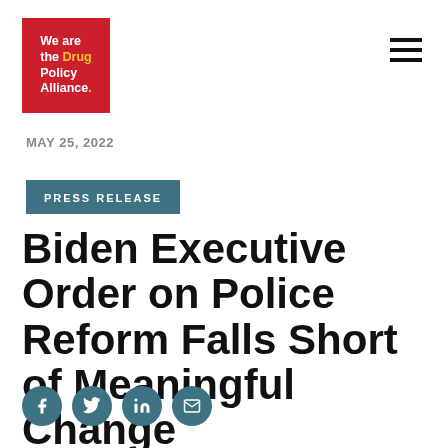[Figure (logo): Drug Policy Alliance logo: red rectangle with white and yellow text reading 'We are the Drug Policy Alliance.']
MAY 25, 2022
PRESS RELEASE
Biden Executive Order on Police Reform Falls Short of Meaningful Change
[Figure (other): Social sharing icons: Facebook, Twitter, LinkedIn, Email]